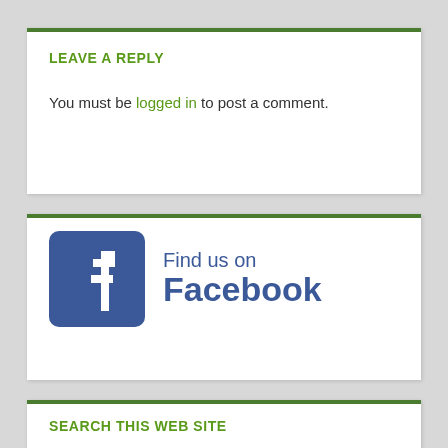LEAVE A REPLY
You must be logged in to post a comment.
[Figure (logo): Find us on Facebook logo with Facebook icon (blue rounded square with white 'f') and text 'Find us on Facebook' in blue]
SEARCH THIS WEB SITE